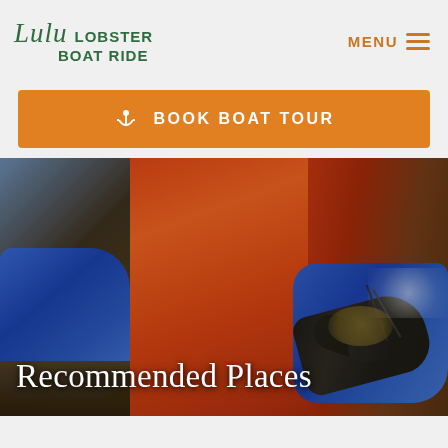Lulu LOBSTER BOAT RIDE  MENU
BOOK BOAT TOUR
[Figure (photo): A person in an orange/red rain jacket and blue rubber gloves holding a live lobster on a fishing boat deck, with ropes and equipment visible in the background.]
Recommended Places